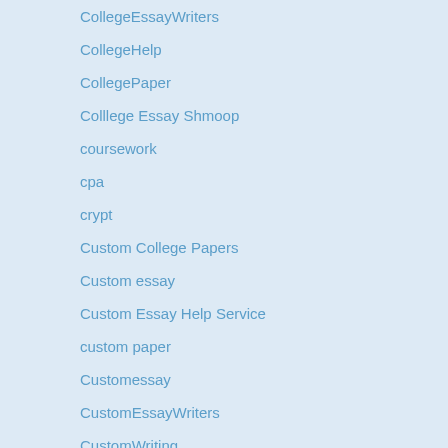CollegeEssayWriters
CollegeHelp
CollegePaper
Colllege Essay Shmoop
coursework
cpa
crypt
Custom College Papers
Custom essay
Custom Essay Help Service
custom paper
Customessay
CustomEssayWriters
CustomWriting
dating
dating tips
Dating Tips For Singles
disser2buy